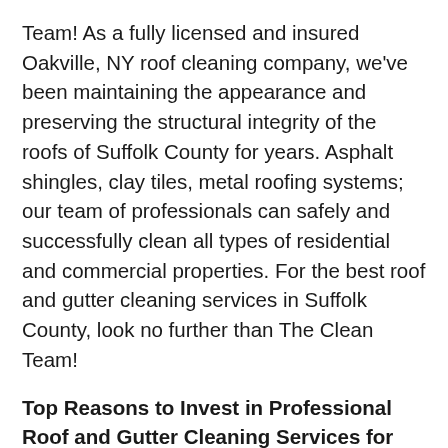Team! As a fully licensed and insured Oakville, NY roof cleaning company, we've been maintaining the appearance and preserving the structural integrity of the roofs of Suffolk County for years. Asphalt shingles, clay tiles, metal roofing systems; our team of professionals can safely and successfully clean all types of residential and commercial properties. For the best roof and gutter cleaning services in Suffolk County, look no further than The Clean Team!
Top Reasons to Invest in Professional Roof and Gutter Cleaning Services for Your Oakville, NY Home
As a homeowner, you know how important it is